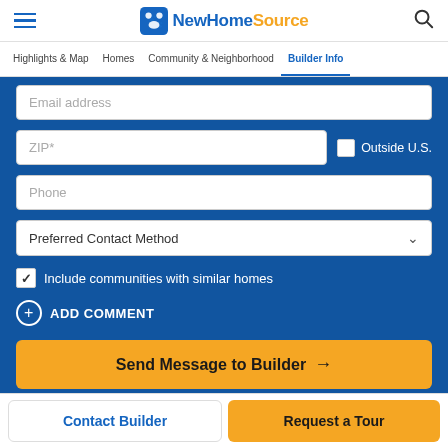NewHomeSource
Highlights & Map | Homes | Community & Neighborhood | Builder Info
Email address
ZIP*
Outside U.S.
Phone
Preferred Contact Method
Include communities with similar homes
ADD COMMENT
Send Message to Builder →
See more details, floor plans and offers! By submitting this request, you agree to
Contact Builder
Request a Tour